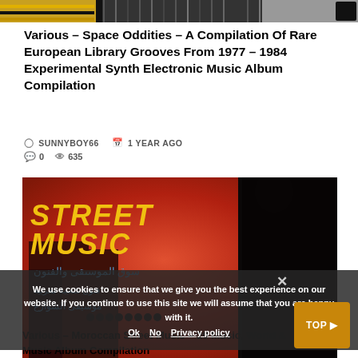[Figure (screenshot): Top banner strip showing partial album cover images in a horizontal strip]
Various – Space Oddities – A Compilation Of Rare European Library Grooves From 1977 – 1984 Experimental Synth Electronic Music Album Compilation
SUNNYBOY66  1 YEAR AGO  0  635
[Figure (photo): Album cover for 'Street Music' showing Moroccan street scene with Arabic script, red background, yellow title text, and silhouetted figure on right]
We use cookies to ensure that we give you the best experience on our website. If you continue to use this site we will assume that you are happy with it.
Various – Moroccan Street Music – 20 Music, World & Music Album Compilation
Ok  No  Privacy policy